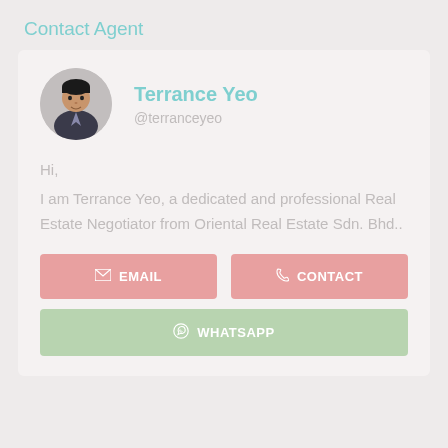Contact Agent
[Figure (photo): Circular avatar photo of Terrance Yeo, a man in a dark suit]
Terrance Yeo
@terranceyeo
Hi,
I am Terrance Yeo, a dedicated and professional Real Estate Negotiator from Oriental Real Estate Sdn. Bhd..
EMAIL
CONTACT
WHATSAPP